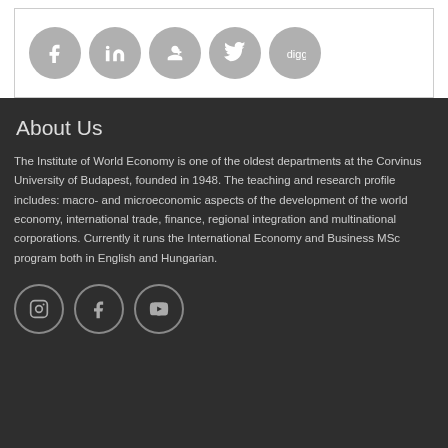[Figure (other): Social media icons: Facebook, LinkedIn, Google+, Twitter, Digg — grey filled circles]
About Us
The Institute of World Economy is one of the oldest departments at the Corvinus University of Budapest, founded in 1948. The teaching and research profile includes: macro- and microeconomic aspects of the development of the world economy, international trade, finance, regional integration and multinational corporations. Currently it runs the International Economy and Business MSc program both in English and Hungarian.
[Figure (other): Social media icons: Instagram, Facebook, YouTube — outline circles on dark background]